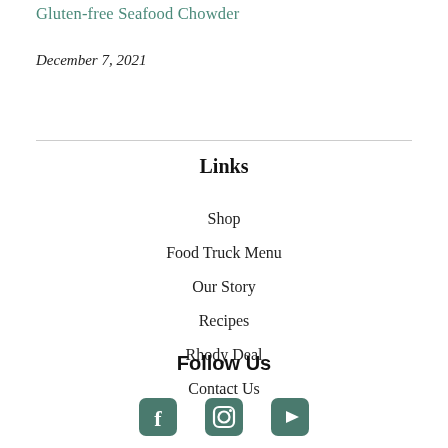Gluten-free Seafood Chowder
December 7, 2021
Links
Shop
Food Truck Menu
Our Story
Recipes
Rhody Deal
Contact Us
Follow Us
[Figure (illustration): Three social media icons: Facebook, Instagram, YouTube in dark teal/green color]